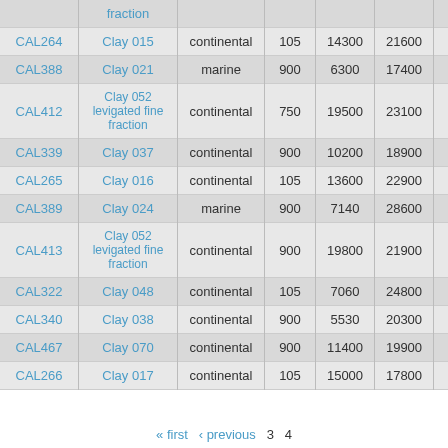|  | fraction |  |  |  |  |  |  |
| --- | --- | --- | --- | --- | --- | --- | --- |
| CAL264 | Clay 015 | continental | 105 | 14300 | 21600 | 0 | 11.5 |
| CAL388 | Clay 021 | marine | 900 | 6300 | 17400 | 0 | 20.7 |
| CAL412 | Clay 052 levigated fine fraction | continental | 750 | 19500 | 23100 | 0 | 12.6 |
| CAL339 | Clay 037 | continental | 900 | 10200 | 18900 | 0 | 14.1 |
| CAL265 | Clay 016 | continental | 105 | 13600 | 22900 | 0 | 14.5 |
| CAL389 | Clay 024 | marine | 900 | 7140 | 28600 | 0 | 19.1 |
| CAL413 | Clay 052 levigated fine fraction | continental | 900 | 19800 | 21900 | 0 | 12.7 |
| CAL322 | Clay 048 | continental | 105 | 7060 | 24800 | 0 | 15.7 |
| CAL340 | Clay 038 | continental | 900 | 5530 | 20300 | 0 | 14.1 |
| CAL467 | Clay 070 | continental | 900 | 11400 | 19900 | 0 | 8.41 |
| CAL266 | Clay 017 | continental | 105 | 15000 | 17800 | 0 | 9.80 |
« first  ‹ previous  3  4